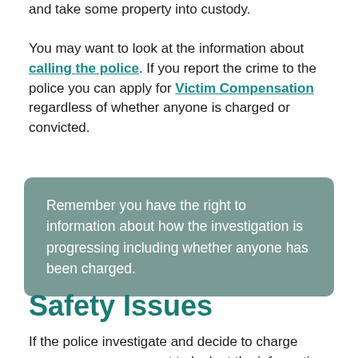and take some property into custody. You may want to look at the information about calling the police. If you report the crime to the police you can apply for Victim Compensation regardless of whether anyone is charged or convicted.
Remember you have the right to information about how the investigation is progressing including whether anyone has been charged.
Safety Issues
If the police investigate and decide to charge someone you may want to look at the information